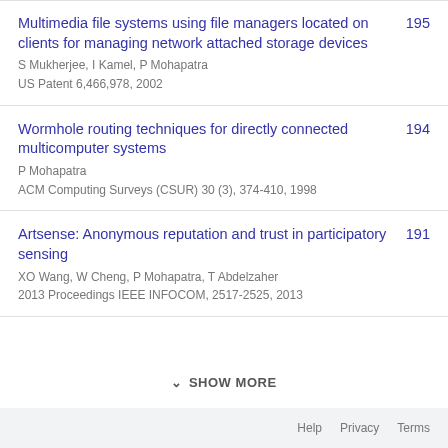Multimedia file systems using file managers located on clients for managing network attached storage devices | S Mukherjee, I Kamel, P Mohapatra | US Patent 6,466,978, 2002 | 195
Wormhole routing techniques for directly connected multicomputer systems | P Mohapatra | ACM Computing Surveys (CSUR) 30 (3), 374-410, 1998 | 194
Artsense: Anonymous reputation and trust in participatory sensing | XO Wang, W Cheng, P Mohapatra, T Abdelzaher | 2013 Proceedings IEEE INFOCOM, 2517-2525, 2013 | 191
SHOW MORE
Help  Privacy  Terms